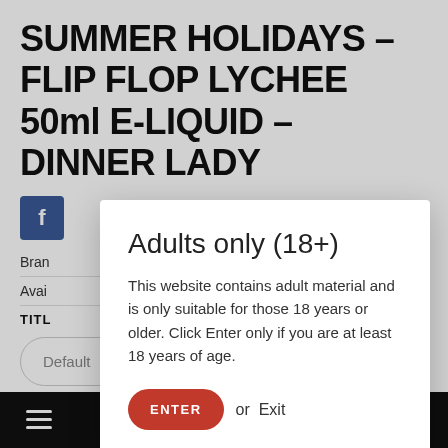SUMMER HOLIDAYS – FLIP FLOP LYCHEE 50ml E-LIQUID – DINNER LADY
Brand:
Availability:
TITLE
Default
£14.99
[Figure (screenshot): Adults only (18+) modal dialog overlay on e-commerce product page. Modal contains heading 'Adults only (18+)', body text 'This website contains adult material and is only suitable for those 18 years or older. Click Enter only if you are at least 18 years of age.', and two actions: a red pill-shaped 'ENTER' button and 'or Exit' text link.]
Navigation bar with hamburger menu, shopping cart (active, red background), basket with 0 badge, heart, and up-arrow icons